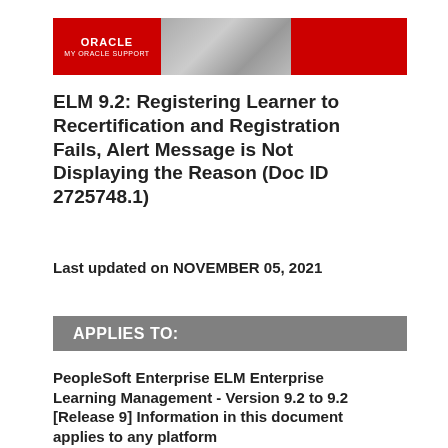[Figure (logo): Oracle My Oracle Support banner header with red background, Oracle logo text on left, person with tablet in center, red panel on right]
ELM 9.2: Registering Learner to Recertification and Registration Fails, Alert Message is Not Displaying the Reason (Doc ID 2725748.1)
Last updated on NOVEMBER 05, 2021
APPLIES TO:
PeopleSoft Enterprise ELM Enterprise Learning Management - Version 9.2 to 9.2 [Release 9] Information in this document applies to any platform